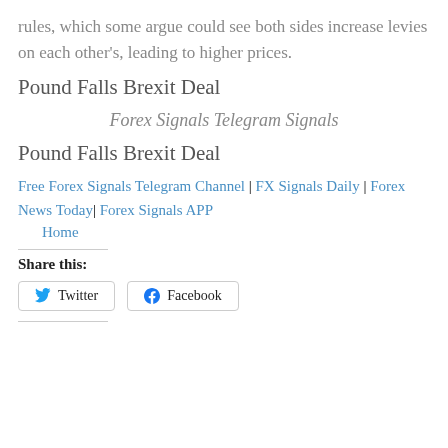rules, which some argue could see both sides increase levies on each other's, leading to higher prices.
Pound Falls Brexit Deal
Forex Signals Telegram Signals
Pound Falls Brexit Deal
Free Forex Signals Telegram Channel | FX Signals Daily | Forex News Today| Forex Signals APP
Home
Share this:
Twitter
Facebook